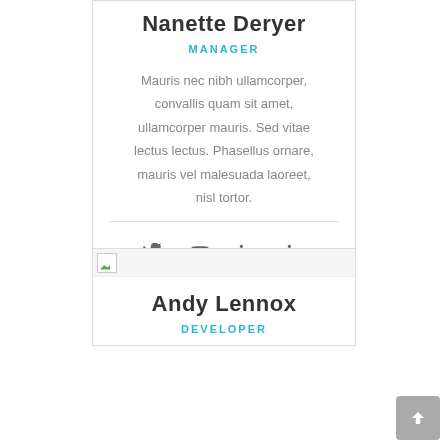Nanette Deryer
MANAGER
Mauris nec nibh ullamcorper, convallis quam sit amet, ullamcorper mauris. Sed vitae lectus lectus. Phasellus ornare, mauris vel malesuada laoreet, nisl tortor.
[Figure (other): Social media icons: Twitter, YouTube, LinkedIn, LinkedIn]
[Figure (photo): Broken image placeholder for Andy Lennox profile photo]
Andy Lennox
DEVELOPER